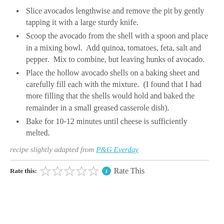Slice avocados lengthwise and remove the pit by gently tapping it with a large sturdy knife.
Scoop the avocado from the shell with a spoon and place in a mixing bowl.  Add quinoa, tomatoes, feta, salt and pepper.  Mix to combine, but leaving hunks of avocado.
Place the hollow avocado shells on a baking sheet and carefully fill each with the mixture.  (I found that I had more filling that the shells would hold and baked the remainder in a small greased casserole dish).
Bake for 10-12 minutes until cheese is sufficiently melted.
recipe slightly adapted from P&G Everday
Rate this: ☆☆☆☆☆ i  Rate This